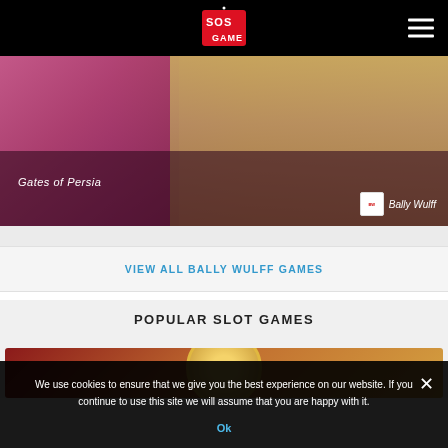SOS GAME navigation bar with logo and hamburger menu
[Figure (screenshot): Gates of Persia game banner image showing a female figure in pink clothing on the left and desert cityscape on the right, with 'Gates of Persia' title text and Bally Wulff provider badge]
VIEW ALL BALLY WULFF GAMES
POPULAR SLOT GAMES
[Figure (screenshot): Popular slot game banner showing a gold circular emblem against a dark red and sandy background]
We use cookies to ensure that we give you the best experience on our website. If you continue to use this site we will assume that you are happy with it.
Ok